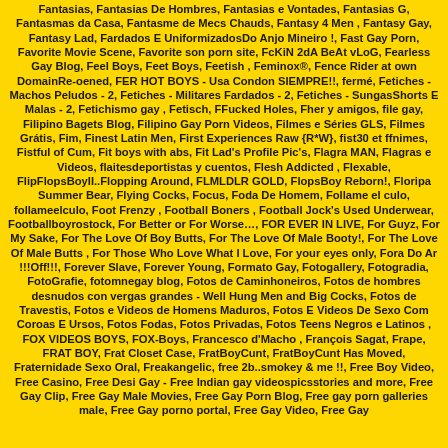Fantasias, Fantasias De Hombres, Fantasias e Vontades, Fantasias G, Fantasmas da Casa, Fantasme de Mecs Chauds, Fantasy 4 Men , Fantasy Gay, Fantasy Lad, Fardados E UniformizadosDo Anjo Mineiro !, Fast Gay Porn, Favorite Movie Scene, Favorite son porn site, FcKiN 2dA BeAt vLoG, Fearless Gay Blog, Feel Boys, Feet Boys, Feetish , Feminox®, Fence Rider at own DomainRe-oened, FER HOT BOYS - Usa Condon SIEMPRE!!, fermé, Fetiches - Machos Peludos - 2, Fetiches - Militares Fardados - 2, Fetiches - SungasShorts E Malas - 2, Fetichismo gay , Fetisch, FFucked Holes, Fher y amigos, file gay, Filipino Bagets Blog, Filipino Gay Porn Videos, Filmes e Séries GLS, Filmes Grátis, Fim, Finest Latin Men, First Experiences Raw {R*W}, fist30 et ffnimes, Fistful of Cum, Fit boys with abs, Fit Lad's Profile Pic's, Flagra MAN, Flagras e Videos, flaitesdeportistas y cuentos, Flesh Addicted , Flexable, FlipFlopsBoyII..Flopping Around, FLMLDLR GOLD, FlopsBoy Reborn!, Floripa Summer Bear, Flying Cocks, Focus, Foda De Homem, Follame el culo, follameelculo, Foot Frenzy , Football Boners , Football Jock's Used Underwear, Footballboyrostock, For Better or For Worse…, FOR EVER IN LIVE, For Guyz, For My Sake, For The Love Of Boy Butts, For The Love Of Male Booty!, For The Love Of Male Butts , For Those Who Love What I Love, For your eyes only, Fora Do Ar !!!Off!!!, Forever Slave, Forever Young, Formato Gay, Fotogallery, Fotogradia, FotoGrafie, fotomnegay blog, Fotos de Caminhoneiros, Fotos de hombres desnudos con vergas grandes - Well Hung Men and Big Cocks, Fotos de Travestis, Fotos e Videos de Homens Maduros, Fotos E Videos De Sexo Com Coroas E Ursos, Fotos Fodas, Fotos Privadas, Fotos Teens Negros e Latinos , FOX VIDEOS BOYS, FOX-Boys, Francesco d'Macho , François Sagat, Frape, FRAT BOY, Frat Closet Case, FratBoyCunt, FratBoyCunt Has Moved, Fraternidade Sexo Oral, Freakangelic, free 2b..smokey & me !!, Free Boy Video, Free Casino, Free Desi Gay - Free Indian gay videospicsstories and more, Free Gay Clip, Free Gay Male Movies, Free Gay Porn Blog, Free gay porn galleries male, Free Gay porno portal, Free Gay Video, Free Gay